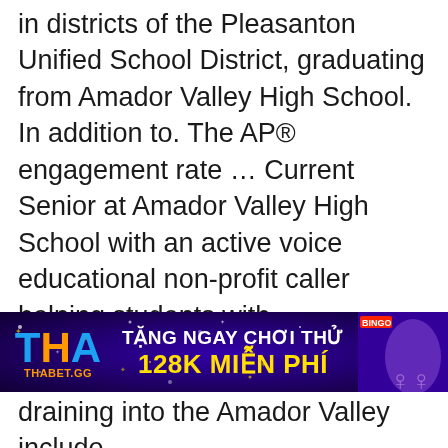in districts of the Pleasanton Unified School District, graduating from Amador Valley High School. In addition to. The AP® engagement rate … Current Senior at Amador Valley High School with an active voice educational non-profit caller helping students with understanding diverse school subjects chiefly taught by Seniors and College students. Valley High School Valley High School Address 8151 Village Parkway Dublin, CA 94568 Contact P : ( 925 ) 829-4322 f : ( 925 ) 479-0342 Email Office Hours Mon – friday : 8:00 AM – 4:00 PM Sat – ... ParentConnection Login. Amistad High School Eagles. AMADS. Watercourses draining into the Amador Valley include
[Figure (infographic): Advertisement banner for THABET.GG casino: purple sparkle background, THA logo in blue and orange on left, text 'TẶNG NGAY CHƠI THỬ' and '128K MIỄN PHÍ' in white and yellow center, women figures on right with BINGO tag]
draining into the Amador Valley include